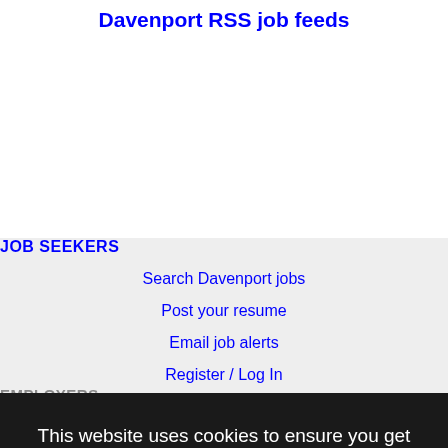Davenport RSS job feeds
JOB SEEKERS
Search Davenport jobs
Post your resume
Email job alerts
Register / Log In
This website uses cookies to ensure you get the best experience on our website.
Learn more
Got it!
EMPLOYERS
Post jobs
Search resumes
Email resume alerts
Advertise